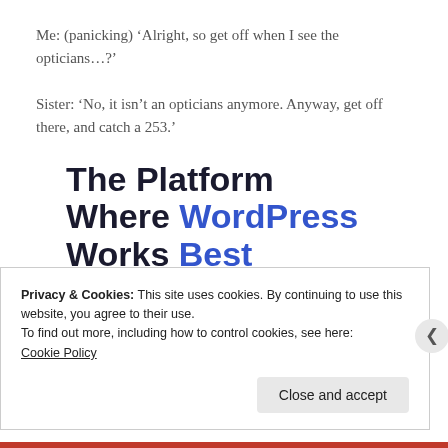Me: (panicking) ‘Alright, so get off when I see the opticians…?’
Sister: ‘No, it isn’t an opticians anymore. Anyway, get off there, and catch a 253.’
The Platform Where WordPress Works Best
Privacy & Cookies: This site uses cookies. By continuing to use this website, you agree to their use.
To find out more, including how to control cookies, see here:
Cookie Policy
Close and accept